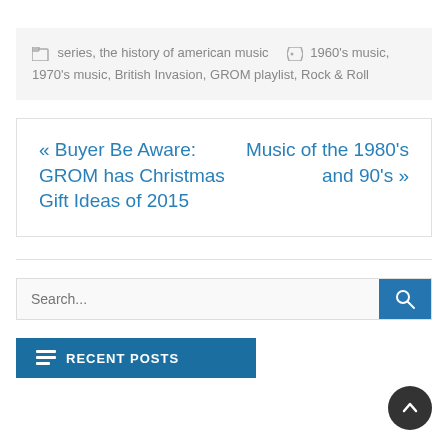series, the history of american music   1960's music, 1970's music, British Invasion, GROM playlist, Rock & Roll
« Buyer Be Aware: GROM has Christmas Gift Ideas of 2015   Music of the 1980's and 90's »
Search...
RECENT POSTS